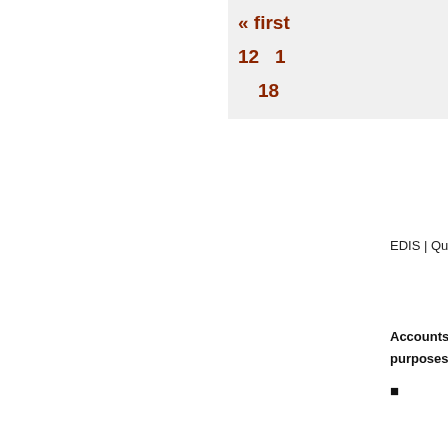« first  12  1  18
EDIS | Questions? S
Accounts on this s purposes. Acco
■